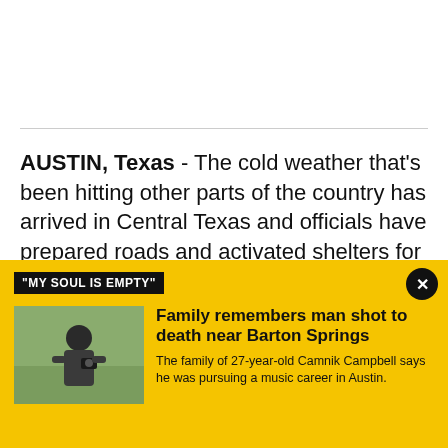AUSTIN, Texas - The cold weather that's been hitting other parts of the country has arrived in Central Texas and officials have prepared roads and activated shelters for those in need.
TxDOT prepared roads ahead of the freezing...
"MY SOUL IS EMPTY"
[Figure (photo): Thumbnail photo of a man standing outdoors holding a camera]
Family remembers man shot to death near Barton Springs
The family of 27-year-old Camnik Campbell says he was pursuing a music career in Austin.